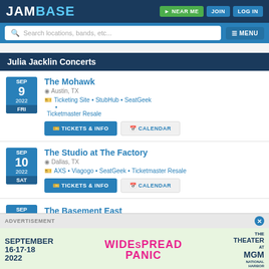JamBase | NEAR ME | JOIN | LOG IN
Search locations, bands, etc... | MENU
Julia Jacklin Concerts
SEP 9 2022 FRI | The Mohawk | Austin, TX | Ticketing Site • StubHub • SeatGeek • Ticketmaster Resale | TICKETS & INFO | CALENDAR
SEP 10 2022 SAT | The Studio at The Factory | Dallas, TX | AXS • Viagogo • SeatGeek • Ticketmaster Resale | TICKETS & INFO | CALENDAR
SEP 12 2022 MON | The Basement East
[Figure (screenshot): Advertisement overlay: September 16·17·18 2022 Widespread Panic The Theater at MGM National Harbor]